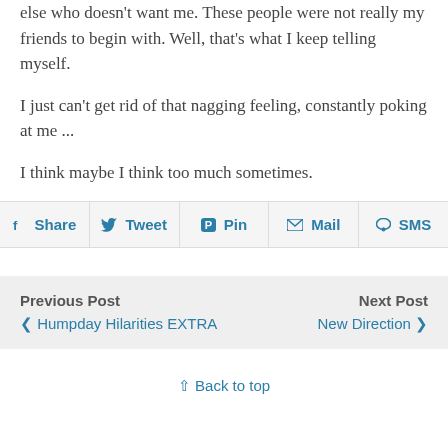else who doesn't want me. These people were not really my friends to begin with. Well, that's what I keep telling myself.
I just can't get rid of that nagging feeling, constantly poking at me ...
I think maybe I think too much sometimes.
Share  Tweet  Pin  Mail  SMS
Previous Post
❮ Humpday Hilarities EXTRA
Next Post
New Direction ❯
⇧ Back to top